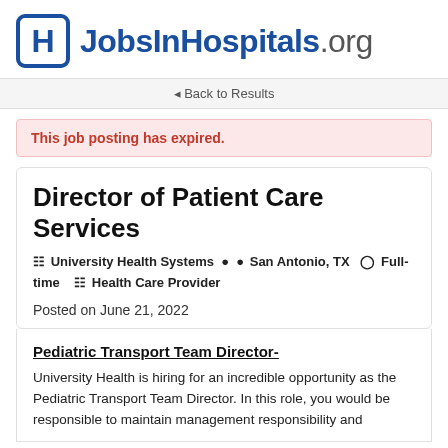JobsInHospitals.org
◄ Back to Results
This job posting has expired.
Director of Patient Care Services
University Health Systems  San Antonio, TX  Full-time  Health Care Provider
Posted on June 21, 2022
Pediatric Transport Team Director-
University Health is hiring for an incredible opportunity as the Pediatric Transport Team Director. In this role, you would be responsible to maintain management responsibility and